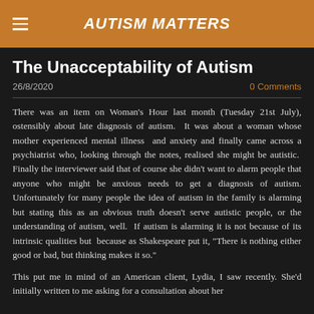AUTISM MATTERS
The Unacceptability of Autism
26/8/2020   0 Comments
There was an item on Woman's Hour last month (Tuesday 21st July), ostensibly about late diagnosis of autism. It was about a woman whose mother experienced mental illness and anxiety and finally came across a psychiatrist who, looking through the notes, realised she might be autistic. Finally the interviewer said that of course she didn't want to alarm people that anyone who might be anxious needs to get a diagnosis of autism. Unfortunately for many people the idea of autism in the family is alarming but stating this as an obvious truth doesn't serve autistic people, or the understanding of autism, well. If autism is alarming it is not because of its intrinsic qualities but because as Shakespeare put it, “There is nothing either good or bad, but thinking makes it so.”
This put me in mind of an American client, Lydia, I saw recently. She'd initially written to me asking for a consultation about her